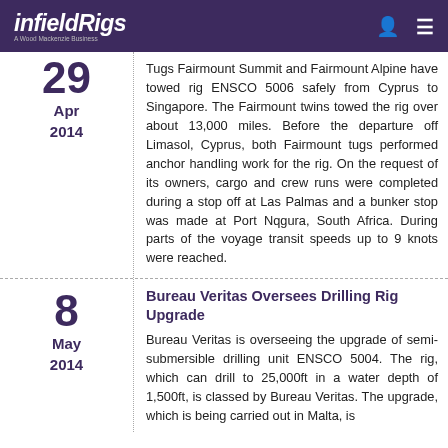infieldRigs – A Wood Mackenzie Business
29 Apr 2014
Tugs Fairmount Summit and Fairmount Alpine have towed rig ENSCO 5006 safely from Cyprus to Singapore. The Fairmount twins towed the rig over about 13,000 miles. Before the departure off Limasol, Cyprus, both Fairmount tugs performed anchor handling work for the rig. On the request of its owners, cargo and crew runs were completed during a stop off at Las Palmas and a bunker stop was made at Port Nqgura, South Africa. During parts of the voyage transit speeds up to 9 knots were reached.
8 May 2014
Bureau Veritas Oversees Drilling Rig Upgrade
Bureau Veritas is overseeing the upgrade of semi-submersible drilling unit ENSCO 5004. The rig, which can drill to 25,000ft in a water depth of 1,500ft, is classed by Bureau Veritas. The upgrade, which is being carried out in Malta, is